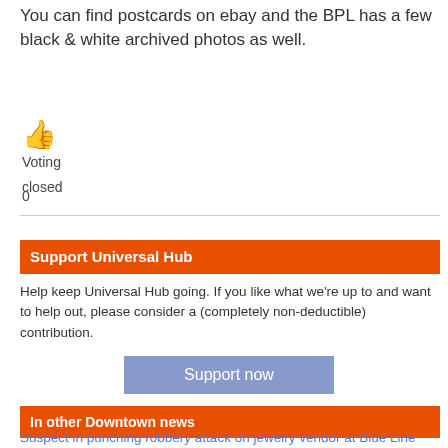You can find postcards on ebay and the BPL has a few black & white archived photos as well.
[Figure (illustration): Thumbs up emoji icon]
Voting closed
0
Support Universal Hub
Help keep Universal Hub going. If you like what we're up to and want to help out, please consider a (completely non-deductible) contribution.
Support now
In other Downtown news
Suspect in punching robbery attack on jewelry vendor at Blue Line stop arrested trying to get on an Orange Line shuttle bus a